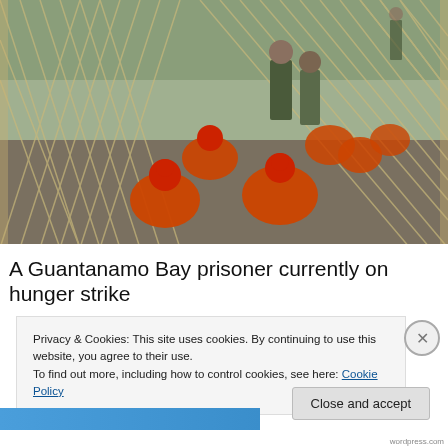[Figure (photo): Photograph taken through a chain-link fence showing several detainees in orange jumpsuits and red caps kneeling/crouching on gravel ground, with military guards in camouflage uniforms standing nearby. The setting appears to be an outdoor detention area at Guantanamo Bay.]
A Guantanamo Bay prisoner currently on hunger strike
Privacy & Cookies: This site uses cookies. By continuing to use this website, you agree to their use.
To find out more, including how to control cookies, see here: Cookie Policy